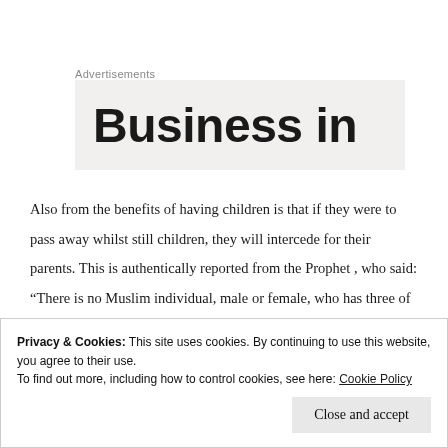Advertisements
[Figure (other): Advertisement banner showing partial text 'Business in' on a light gray background]
Also from the benefits of having children is that if they were to pass away whilst still children, they will intercede for their parents. This is authentically reported from the Prophet , who said: “There is no Muslim individual, male or female, who has three of his children pass away whilst they are young and he is patient with that, except that they will
Privacy & Cookies: This site uses cookies. By continuing to use this website, you agree to their use.
To find out more, including how to control cookies, see here: Cookie Policy